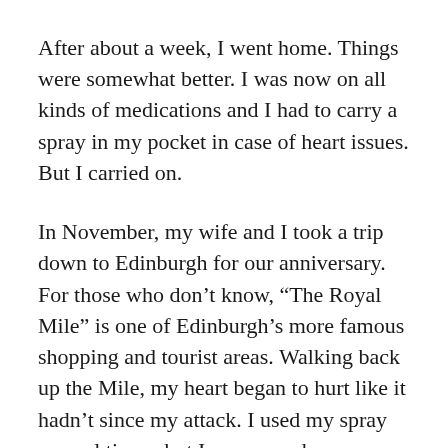After about a week, I went home. Things were somewhat better. I was now on all kinds of medications and I had to carry a spray in my pocket in case of heart issues. But I carried on.
In November, my wife and I took a trip down to Edinburgh for our anniversary. For those who don't know, “The Royal Mile” is one of Edinburgh’s more famous shopping and tourist areas. Walking back up the Mile, my heart began to hurt like it hadn’t since my attack. I used my spray several times, but I was scared. Eventually, we made it back to our bus stop and went to our hotel. The short version is, I ruined the anniversary. My wife was so scared. And to be honest, angry. When we got home however,